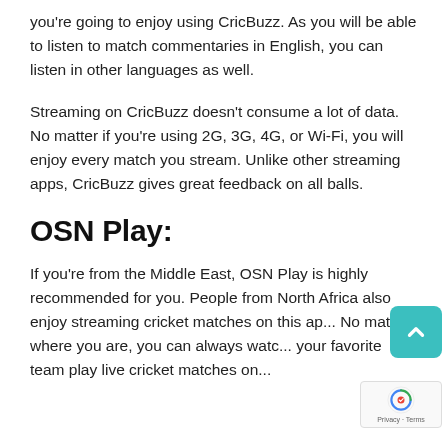you're going to enjoy using CricBuzz. As you will be able to listen to match commentaries in English, you can listen in other languages as well.
Streaming on CricBuzz doesn't consume a lot of data. No matter if you're using 2G, 3G, 4G, or Wi-Fi, you will enjoy every match you stream. Unlike other streaming apps, CricBuzz gives great feedback on all balls.
OSN Play:
If you're from the Middle East, OSN Play is highly recommended for you. People from North Africa also enjoy streaming cricket matches on this ap... No matter where you are, you can always watc... your favorite team play live cricket matches on...